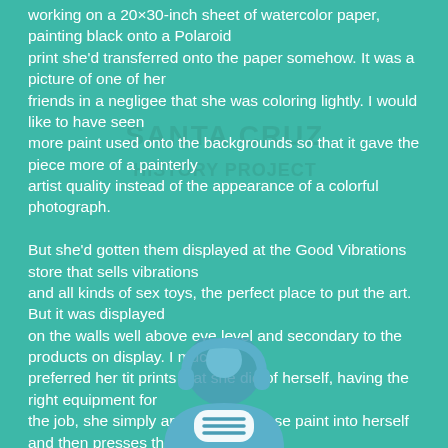working on a 20×30-inch sheet of watercolor paper, painting black onto a Polaroid print she'd transferred onto the paper somehow. It was a picture of one of her friends in a negligee that she was coloring lightly. I would like to have seen more paint used onto the backgrounds so that it gave the piece more of a painterly artist quality instead of the appearance of a colorful photograph.

But she'd gotten them displayed at the Good Vibrations store that sells vibrations and all kinds of sex toys, the perfect place to put the art. But it was displayed on the walls well above eye level and secondary to the products on display. I much preferred her tit prints that she did of herself, having the right equipment for the job, she simply applies water-base paint into herself and then presses them onto watercolor paper. Viola! That tit is painted in a variety of colors and shapes, sometimes even in a perfect smaller circle by using a stencil. Back in the '80s, some time ago, I'd been … prints out in the desert